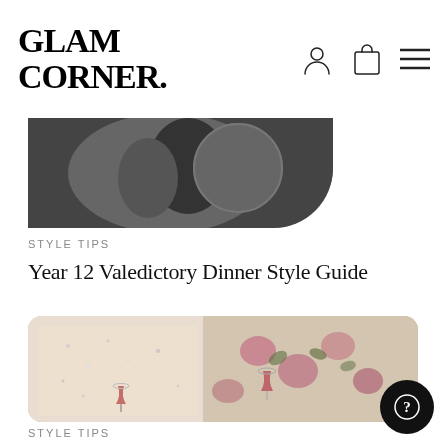GLAM CORNER.
[Figure (photo): Black and white cropped photo of a person, partially visible, with circular crop on right side]
STYLE TIPS
Year 12 Valedictory Dinner Style Guide
[Figure (photo): Two women in formal dresses holding cocktail glasses — one in a sequined feather dress, one in a floral printed dress with puffed sleeves]
STYLE TIPS